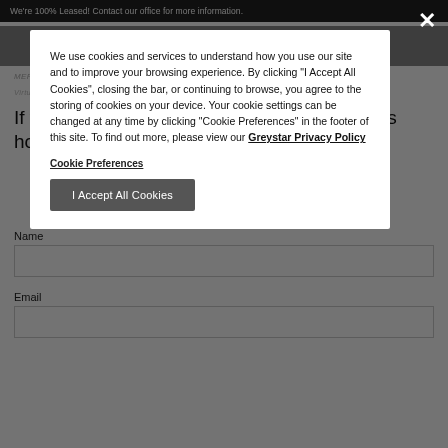We're 100% Leased! Contact our office for more information.
Virtual Tour
If you can't find what you're looking for, here's how to get in touch with us.
Name
Email
We use cookies and services to understand how you use our site and to improve your browsing experience. By clicking "I Accept All Cookies", closing the bar, or continuing to browse, you agree to the storing of cookies on your device. Your cookie settings can be changed at any time by clicking "Cookie Preferences" in the footer of this site. To find out more, please view our Greystar Privacy Policy
Cookie Preferences
I Accept All Cookies